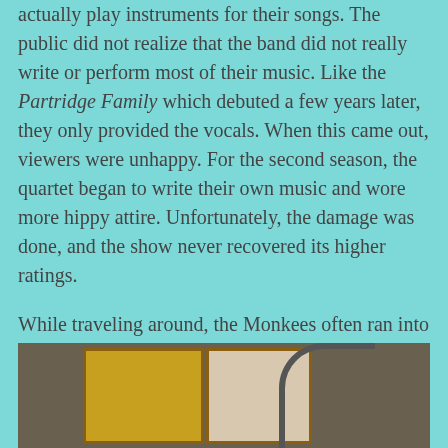actually play instruments for their songs. The public did not realize that the band did not really write or perform most of their music. Like the Partridge Family which debuted a few years later, they only provided the vocals. When this came out, viewers were unhappy. For the second season, the quartet began to write their own music and wore more hippy attire. Unfortunately, the damage was done, and the show never recovered its higher ratings.
While traveling around, the Monkees often ran into rival bands. The three who showed up most often were the Jolly Green Giants, The Four Martians, and The Foreign Agents.
[Figure (photo): A photograph showing what appears to be an interior scene with paintings on a wall and an arched doorway or window on the right side.]